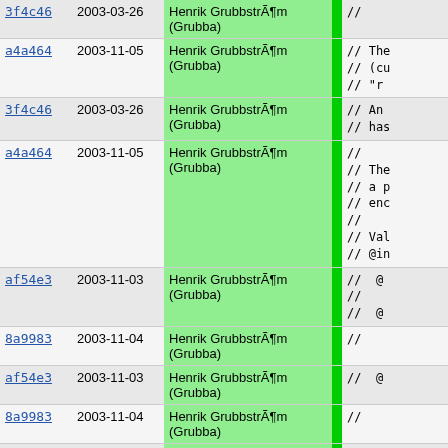| hash | date | author |  | code |
| --- | --- | --- | --- | --- |
| 3f4c46 | 2003-03-26 | Henrik GrubbstrÃ¶m (Grubba) |  | // |
| a4a464 | 2003-11-05 | Henrik GrubbstrÃ¶m (Grubba) |  | // The
// (cu
// "r |
| 3f4c46 | 2003-03-26 | Henrik GrubbstrÃ¶m (Grubba) |  | // An
// has |
| a4a464 | 2003-11-05 | Henrik GrubbstrÃ¶m (Grubba) |  | //
// The
// a p
// enc
//
// Val
// @in |
| af54e3 | 2003-11-03 | Henrik GrubbstrÃ¶m (Grubba) |  | //  @
//
//  @ |
| 8a9983 | 2003-11-04 | Henrik GrubbstrÃ¶m (Grubba) |  | // |
| af54e3 | 2003-11-03 | Henrik GrubbstrÃ¶m (Grubba) |  | //  @ |
| 8a9983 | 2003-11-04 | Henrik GrubbstrÃ¶m (Grubba) |  | // |
| a4a464 | 2003-11-05 | Henrik GrubbstrÃ¶m (Grubba) |  | // @en |
| 3f4c46 | 2003-03-26 | Henrik GrubbstrÃ¶m (Grubba) |  | // |
| 8a9983 | 2003-11-04 | Henrik GrubbstrÃ¶m (Grubba) |  | // Sho
// enc |